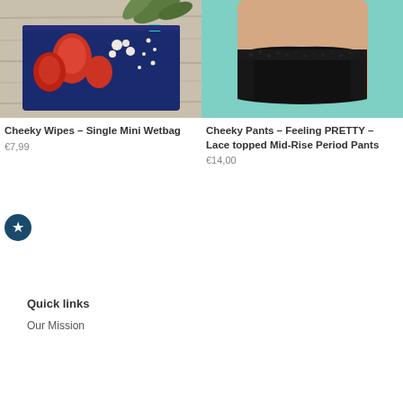[Figure (photo): Colorful floral patterned mini wetbag on a wooden surface with green leaves in the background]
[Figure (photo): Person wearing black lace-topped mid-rise period pants on a teal/mint background]
Cheeky Wipes – Single Mini Wetbag
€7,99
Cheeky Pants – Feeling PRETTY – Lace topped Mid-Rise Period Pants
€14,00
Quick links
Our Mission